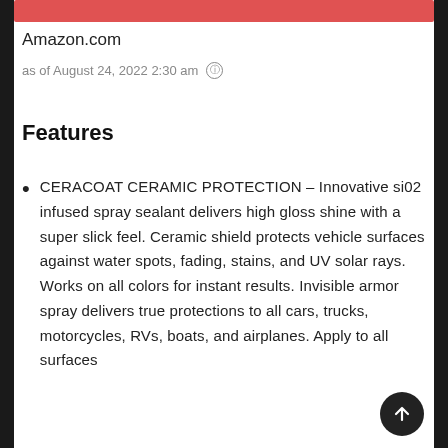[Figure (other): Red/salmon colored horizontal bar at top of content area]
Amazon.com
as of August 24, 2022 2:30 am ⓘ
Features
CERACOAT CERAMIC PROTECTION – Innovative si02 infused spray sealant delivers high gloss shine with a super slick feel. Ceramic shield protects vehicle surfaces against water spots, fading, stains, and UV solar rays. Works on all colors for instant results. Invisible armor spray delivers true protections to all cars, trucks, motorcycles, RVs, boats, and airplanes. Apply to all surfaces